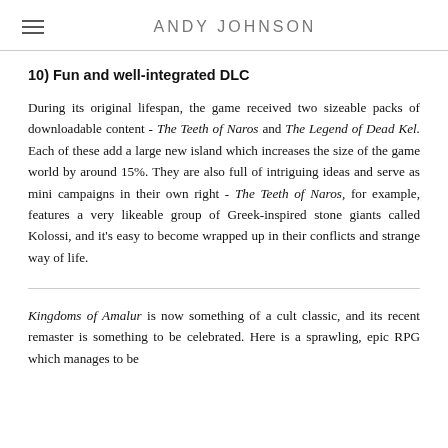ANDY JOHNSON
10) Fun and well-integrated DLC
During its original lifespan, the game received two sizeable packs of downloadable content - The Teeth of Naros and The Legend of Dead Kel. Each of these add a large new island which increases the size of the game world by around 15%. They are also full of intriguing ideas and serve as mini campaigns in their own right - The Teeth of Naros, for example, features a very likeable group of Greek-inspired stone giants called Kolossi, and it's easy to become wrapped up in their conflicts and strange way of life.
Kingdoms of Amalur is now something of a cult classic, and its recent remaster is something to be celebrated. Here is a sprawling, epic RPG which manages to be